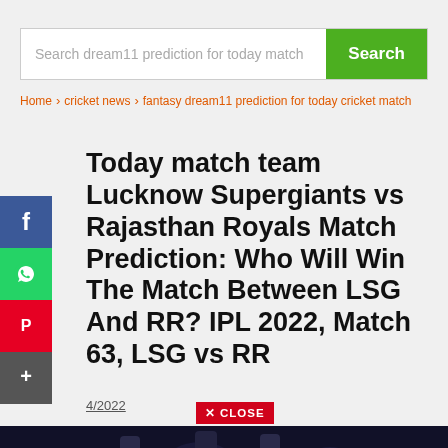Search dream11 prediction for today match
Home › cricket news › fantasy dream11 prediction for today cricket match
Today match team Lucknow Supergiants vs Rajasthan Royals Match Prediction: Who Will Win The Match Between LSG And RR? IPL 2022, Match 63, LSG vs RR
4/2022
[Figure (photo): Cricket players celebrating on a dark field, silhouette style]